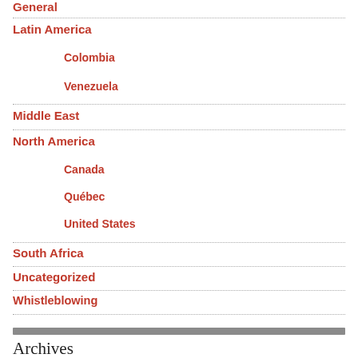General
Latin America
Colombia
Venezuela
Middle East
North America
Canada
Québec
United States
South Africa
Uncategorized
Whistleblowing
Archives